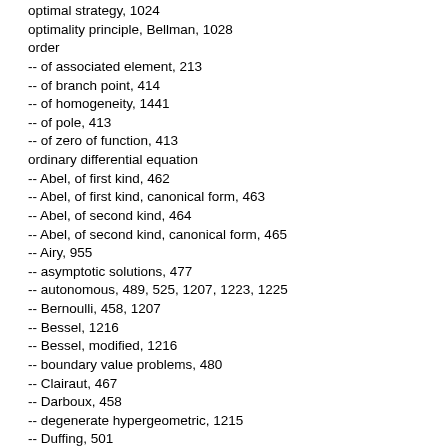optimal strategy, 1024
optimality principle, Bellman, 1028
order
-- of associated element, 213
-- of branch point, 414
-- of homogeneity, 1441
-- of pole, 413
-- of zero of function, 413
ordinary differential equation
-- Abel, of first kind, 462
-- Abel, of first kind, canonical form, 463
-- Abel, of second kind, 464
-- Abel, of second kind, canonical form, 465
-- Airy, 955
-- asymptotic solutions, 477
-- autonomous, 489, 525, 1207, 1223, 1225
-- Bernoulli, 458, 1207
-- Bessel, 1216
-- Bessel, modified, 1216
-- boundary value problems, 480
-- Clairaut, 467
-- Darboux, 458
-- degenerate hypergeometric, 1215
-- Duffing, 501
-- Emden--Fowler, 1223